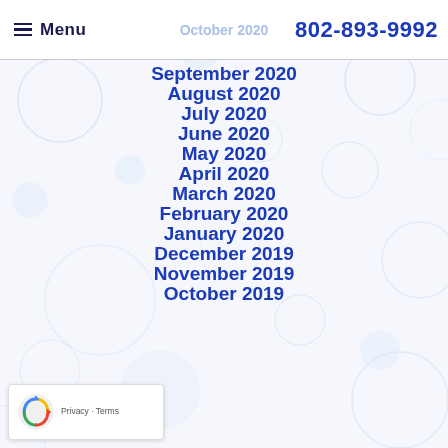Menu | October 2020 | 802-893-9992
September 2020
August 2020
July 2020
June 2020
May 2020
April 2020
March 2020
February 2020
January 2020
December 2019
November 2019
October 2019